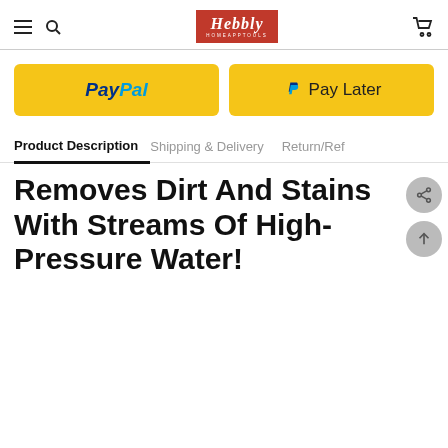Hebbly
[Figure (screenshot): PayPal and Pay Later payment buttons with yellow background]
Product Description | Shipping & Delivery | Return/Ref
Removes Dirt And Stains With Streams Of High-Pressure Water!